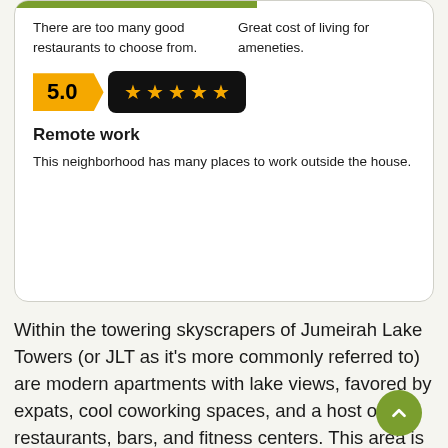There are too many good restaurants to choose from.
Great cost of living for ameneties.
5.0
[Figure (other): Five gold stars on black background rating badge]
Remote work
This neighborhood has many places to work outside the house.
Within the towering skyscrapers of Jumeirah Lake Towers (or JLT as it's more commonly referred to) are modern apartments with lake views, favored by expats, cool coworking spaces, and a host of restaurants, bars, and fitness centers. This area is also ideal for those who want access to all the benefits of Dubai Marina—namely proximity to the